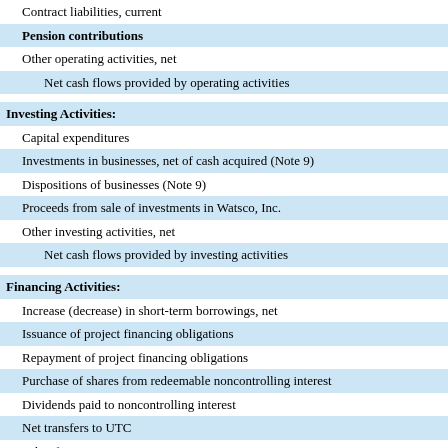| Contract liabilities, current |
| Pension contributions |
| Other operating activities, net |
| Net cash flows provided by operating activities |
|  |
| Investing Activities: |
| Capital expenditures |
| Investments in businesses, net of cash acquired (Note 9) |
| Dispositions of businesses (Note 9) |
| Proceeds from sale of investments in Watsco, Inc. |
| Other investing activities, net |
| Net cash flows provided by investing activities |
|  |
| Financing Activities: |
| Increase (decrease) in short-term borrowings, net |
| Issuance of project financing obligations |
| Repayment of project financing obligations |
| Purchase of shares from redeemable noncontrolling interest |
| Dividends paid to noncontrolling interest |
| Net transfers to UTC |
| Other financing activities, net |
| Net cash flows used in financing activities |
|  |
| Effect of foreign exchange rates on cash and cash equivalents |
| Net (decrease) increase in cash, cash equivalents and restricted cash |